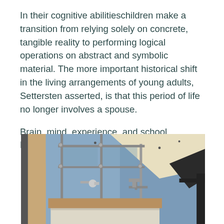In their cognitive abilitieschildren make a transition from relying solely on concrete, tangible reality to performing logical operations on abstract and symbolic material. The more important historical shift in the living arrangements of young adults, Settersten asserted, is that this period of life no longer involves a spouse.
Brain, mind, experience, and school Expanded ed. Is it okay to have been me.
[Figure (photo): Interior architectural photo showing a loft or mezzanine space with metal railings, glass panels, blue painted walls, wooden elements, a mattress or bed platform, and structural ceiling elements with skylights.]